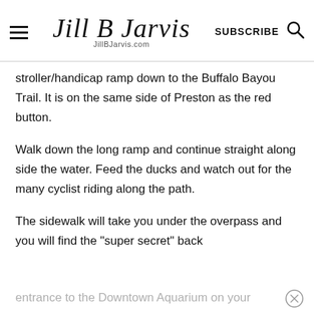Jill B Jarvis | JillBJarvis.com | SUBSCRIBE
stroller/handicap ramp down to the Buffalo Bayou Trail. It is on the same side of Preston as the red button.
Walk down the long ramp and continue straight along side the water. Feed the ducks and watch out for the many cyclist riding along the path.
The sidewalk will take you under the overpass and you will find the "super secret" back entrance to the Downtown Aquarium on your